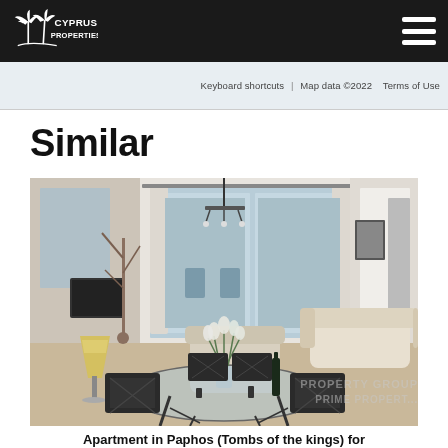Cyprus Properties
Keyboard shortcuts | Map data ©2022 Terms of Use
Similar
[Figure (photo): Interior photo of a furnished apartment living/dining room with glass dining table, white tulips in a vase, chandelier, sliding glass doors to balcony, and a cream sofa. Watermark reads 'PROPERTY GROUP PRIME PROPERTIES'.]
Apartment in Paphos (Tombs of the kings) for ...